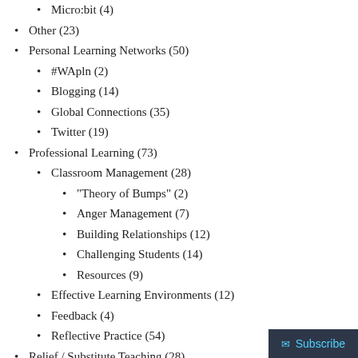Micro:bit (4)
Other (23)
Personal Learning Networks (50)
#WApln (2)
Blogging (14)
Global Connections (35)
Twitter (19)
Professional Learning (73)
Classroom Management (28)
"Theory of Bumps" (2)
Anger Management (7)
Building Relationships (12)
Challenging Students (14)
Resources (9)
Effective Learning Environments (12)
Feedback (4)
Reflective Practice (54)
Relief / Substitute Teaching (28)
School Planning (?)